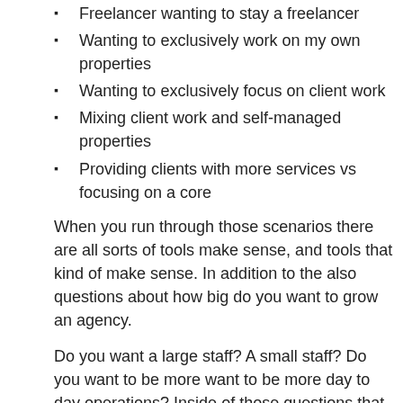Freelancer wanting to stay a freelancer
Wanting to exclusively work on my own properties
Wanting to exclusively focus on client work
Mixing client work and self-managed properties
Providing clients with more services vs focusing on a core
When you run through those scenarios there are all sorts of tools make sense, and tools that kind of make sense. In addition to the also questions about how big do you want to grow an agency.
Do you want a large staff? A small staff? Do you want to be more want to be more day to day operations? Inside of those questions that can have a significant effect on how your workflow will be stru
I'll give you some insight into how I determined my set up.
Putting Tools Through Their Paces
I do a mix of things for "work". I run some of my own properties, SeoBook. In addition to this I've also been (slowly) developing a p